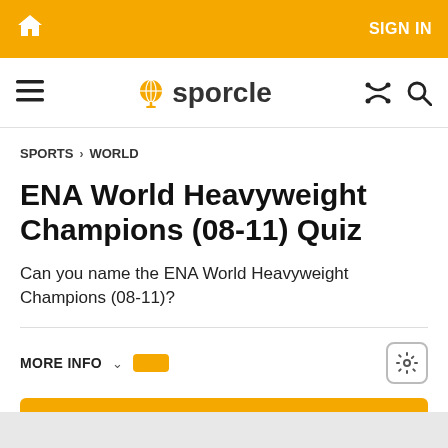SIGN IN
sporcle
SPORTS > WORLD
ENA World Heavyweight Champions (08-11) Quiz
Can you name the ENA World Heavyweight Champions (08-11)?
MORE INFO
PLAY QUIZ